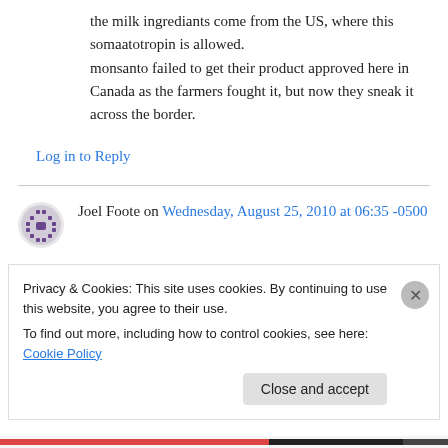the milk ingrediants come from the US, where this somaatotropin is allowed. monsanto failed to get their product approved here in Canada as the farmers fought it, but now they sneak it across the border.
Log in to Reply
Joel Foote on Wednesday, August 25, 2010 at 06:35 -0500
Privacy & Cookies: This site uses cookies. By continuing to use this website, you agree to their use.
To find out more, including how to control cookies, see here: Cookie Policy
Close and accept